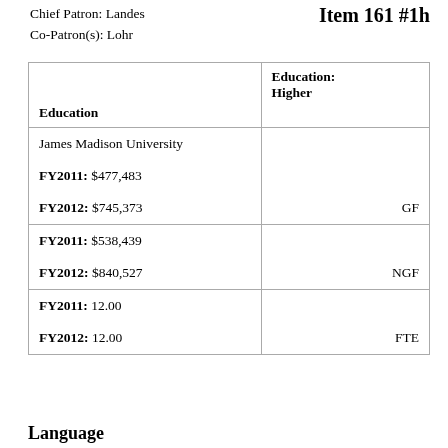Chief Patron: Landes
Co-Patron(s): Lohr
Item 161 #1h
| Education | Education: Higher |
| --- | --- |
| James Madison University
FY2011: $477,483
FY2012: $745,373 | GF |
| FY2011: $538,439
FY2012: $840,527 | NGF |
| FY2011: 12.00
FY2012: 12.00 | FTE |
Language